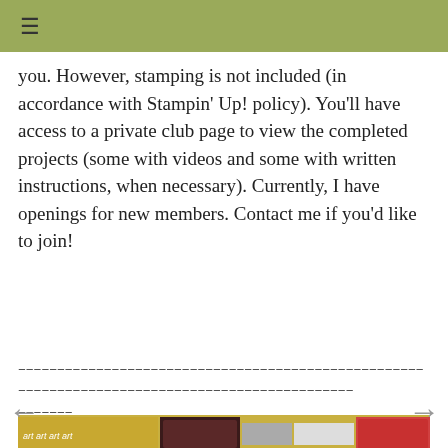≡
you.  However, stamping is not included (in accordance with Stampin' Up! policy).  You'll have access to a private club page to view the completed projects (some with videos and some with written instructions, when necessary).  Currently, I have openings for new members.  Contact me if you'd like to join!
----------------------------------------------------------------------  -----------------------------------------------  --------
[Figure (infographic): Banner advertisement showing Stampin Up retired list products with colorful strip of products, teal bar reading 'The RETIRED LIST is here; get your favorite products before they are gone!', and large red area with white text 'SOMETHING']